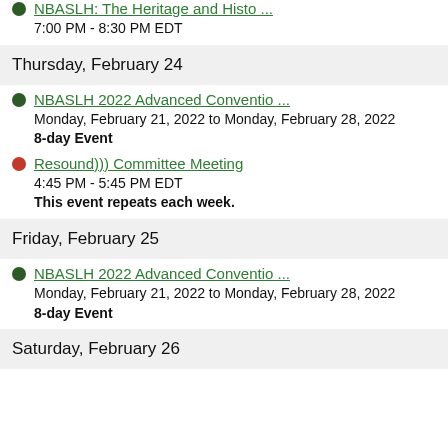NBASLH: The Heritage and Histo ...
7:00 PM - 8:30 PM EDT
Thursday, February 24
NBASLH 2022 Advanced Conventio ...
Monday, February 21, 2022 to Monday, February 28, 2022
8-day Event
Resound))) Committee Meeting
4:45 PM - 5:45 PM EDT
This event repeats each week.
Friday, February 25
NBASLH 2022 Advanced Conventio ...
Monday, February 21, 2022 to Monday, February 28, 2022
8-day Event
Saturday, February 26